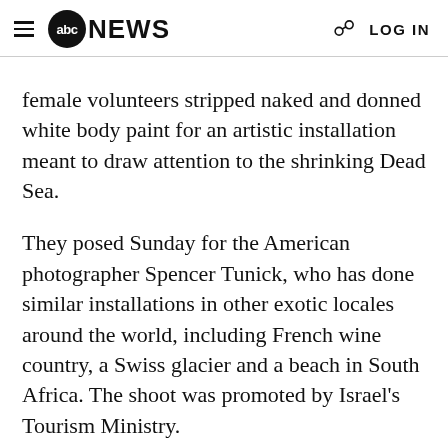abc NEWS  LOG IN
female volunteers stripped naked and donned white body paint for an artistic installation meant to draw attention to the shrinking Dead Sea.
They posed Sunday for the American photographer Spencer Tunick, who has done similar installations in other exotic locales around the world, including French wine country, a Swiss glacier and a beach in South Africa. The shoot was promoted by Israel's Tourism Ministry.